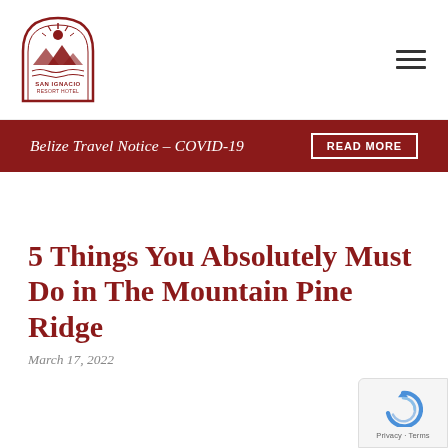[Figure (logo): San Ignacio Resort Hotel circular logo with arch, mountains, and text]
[Figure (other): Hamburger menu icon (three horizontal lines)]
Belize Travel Notice – COVID-19   READ MORE
5 Things You Absolutely Must Do in The Mountain Pine Ridge
March 17, 2022
[Figure (other): reCAPTCHA Privacy - Terms badge]